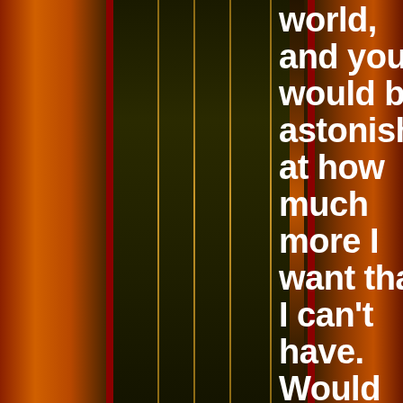[Figure (illustration): Dark atmospheric background with orange/amber brick-like panels on left and right sides, dark olive-green center panel, with red vertical stripes and golden vertical lines creating a decorative frame effect.]
world, and you would be astonished at how much more I want that I can't have. Would the two of you like me to demonstrate and give descriptions? *    *
—